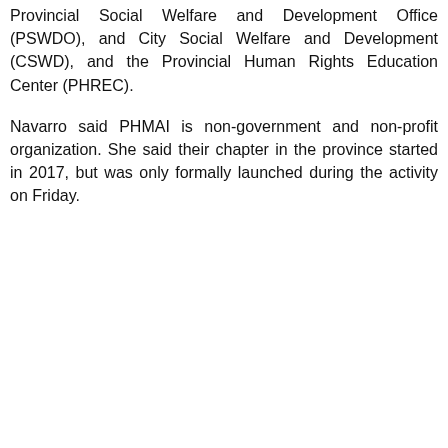Provincial Social Welfare and Development Office (PSWDO), and City Social Welfare and Development (CSWD), and the Provincial Human Rights Education Center (PHREC).
Navarro said PHMAI is non-government and non-profit organization. She said their chapter in the province started in 2017, but was only formally launched during the activity on Friday.